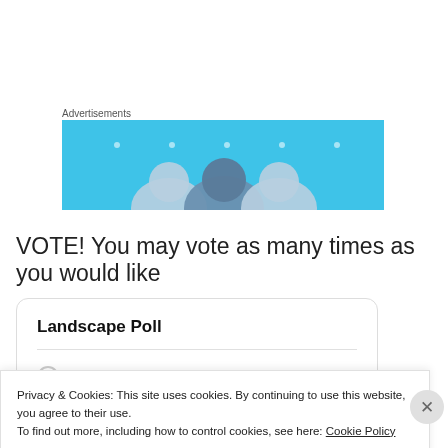Advertisements
[Figure (illustration): Blue advertisement banner with circular character illustrations and white dots]
VOTE! You may vote as many times as you would like
Landscape Poll
Image 1
Privacy & Cookies: This site uses cookies. By continuing to use this website, you agree to their use.
To find out more, including how to control cookies, see here: Cookie Policy
Close and accept